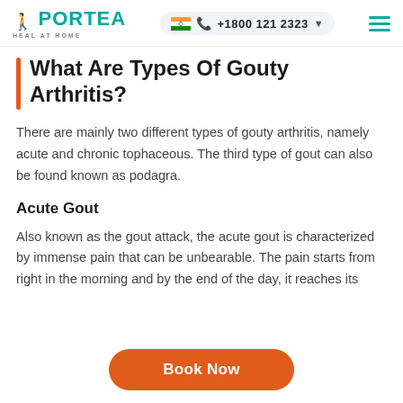PORTEA HEAL AT HOME | +1800 121 2323
What Are Types Of Gouty Arthritis?
There are mainly two different types of gouty arthritis, namely acute and chronic tophaceous. The third type of gout can also be found known as podagra.
Acute Gout
Also known as the gout attack, the acute gout is characterized by immense pain that can be unbearable. The pain starts from right in the morning and by the end of the day, it reaches its